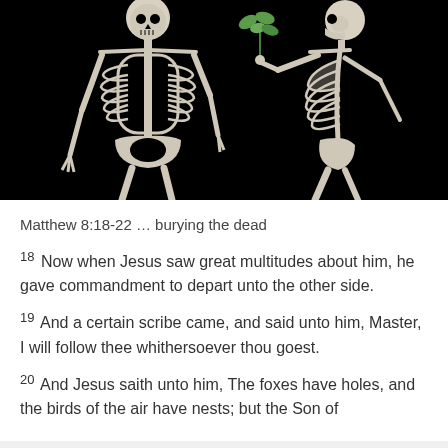[Figure (photo): Two human skeletons posed against a black background. One skeleton on the left faces forward, the other on the right is turned sideways. The right skeleton appears to be holding or offering a small green plant/flower to the left skeleton.]
Matthew 8:18-22 … burying the dead
18 Now when Jesus saw great multitudes about him, he gave commandment to depart unto the other side.
19 And a certain scribe came, and said unto him, Master, I will follow thee whithersoever thou goest.
20 And Jesus saith unto him, The foxes have holes, and the birds of the air have nests; but the Son of